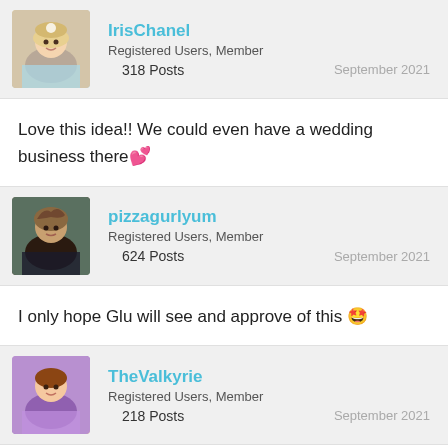IrisChanel — Registered Users, Member — 318 Posts — September 2021
Love this idea!! We could even have a wedding business there 💕
pizzagurlyum — Registered Users, Member — 624 Posts — September 2021
I only hope Glu will see and approve of this 🤩
TheValkyrie — Registered Users, Member — 218 Posts — September 2021